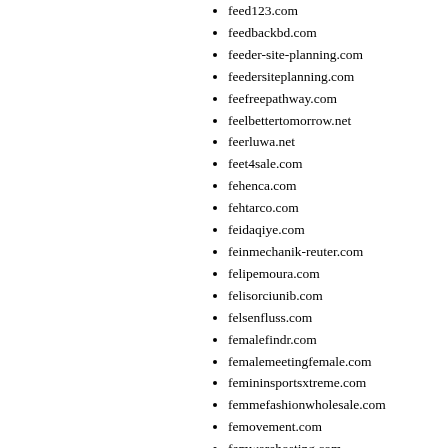feed123.com
feedbackbd.com
feeder-site-planning.com
feedersiteplanning.com
feefreepathway.com
feelbettertomorrow.net
feerluwa.net
feet4sale.com
fehenca.com
fehtarco.com
feidaqiye.com
feinmechanik-reuter.com
felipemoura.com
felisorciunib.com
felsenfluss.com
femalefindr.com
femalemeetingfemale.com
femininsportsxtreme.com
femmefashionwholesale.com
femovement.com
femwarehosting.com
fendsace.com
fendslaw.com
fendsto.com
feneux.com
feng-shi-bing.com
fengcaico.com
fengshui114.com